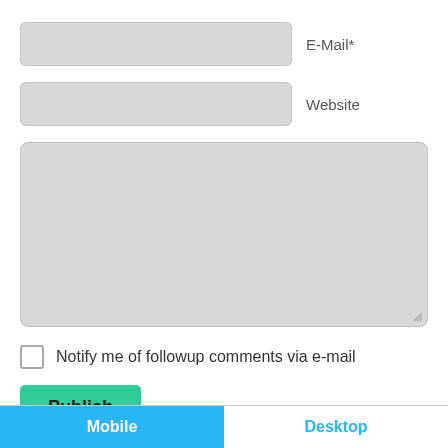E-Mail*
Website
Notify me of followup comments via e-mail
Publish
Back to top
Mobile
Desktop